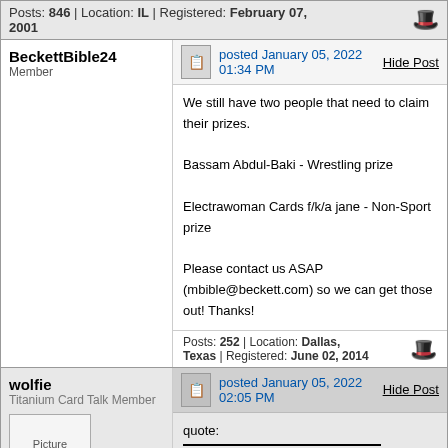Posts: 846 | Location: IL | Registered: February 07, 2001
BeckettBible24
Member
posted January 05, 2022 01:34 PM
We still have two people that need to claim their prizes.

Bassam Abdul-Baki - Wrestling prize

Electrawoman Cards f/k/a jane - Non-Sport prize

Please contact us ASAP (mbible@beckett.com) so we can get those out! Thanks!
Posts: 252 | Location: Dallas, Texas | Registered: June 02, 2014
wolfie
Titanium Card Talk Member
posted January 05, 2022 02:05 PM
quote:
Originally posted by BeckettBible24:
We still have two people that need to claim their prizes.

Bassam Abdul-Baki - Wrestling prize

Electrawoman Cards f/k/a jane - Non-Sport prize